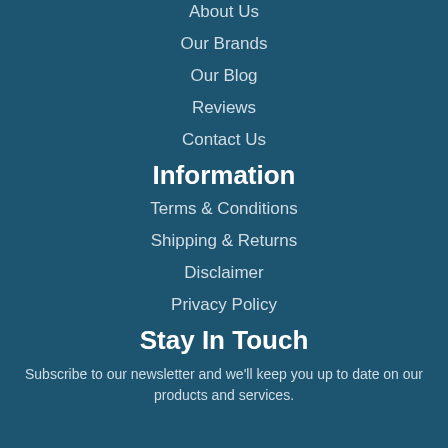About Us
Our Brands
Our Blog
Reviews
Contact Us
Information
Terms & Conditions
Shipping & Returns
Disclaimer
Privacy Policy
Stay In Touch
Subscribe to our newsletter and we'll keep you up to date on our products and services.